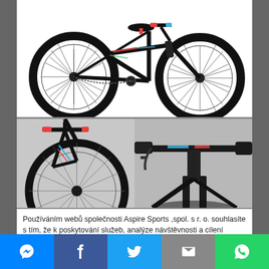[Figure (photo): BMX bicycle shown from side profile on white background, black frame with colorful accents on handlebars and frame, large black tires with spokes visible]
[Figure (photo): Two close-up photos of a BMX bicycle: left shows front wheel and handlebars area, right shows handlebar grips and front fork detail]
Používáním webů společnosti Aspire Sports ,spol. s r. o. souhlasíte s tím, že k poskytování služeb, analýze návštěvnosti a cílení reklam používají soubory cookie. _